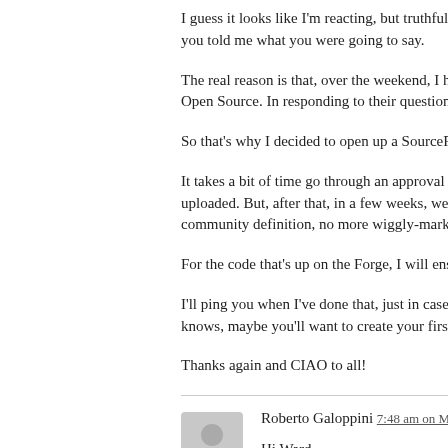I guess it looks like I'm reacting, but truthfully, not really. I you told me what you were going to say.
The real reason is that, over the weekend, I had a lot of e Open Source. In responding to their questions, I learned
So that's why I decided to open up a SourceForge.net pr
It takes a bit of time go through an approval process and uploaded. But, after that, in a few weeks, we'll have prod community definition, no more wiggly-marketing words as
For the code that's up on the Forge, I will ensure there's e
I'll ping you when I've done that, just in case you want to knows, maybe you'll want to create your first BI solution a
Thanks again and CIAO to all!
Roberto Galoppini 7:48 am on May 6, 2008
Hi Ward,
I am glad me and others are helping you to form a better Whenever you are ready to announce an open source re BI apparently is slowly catching on though.
Happy hacking!